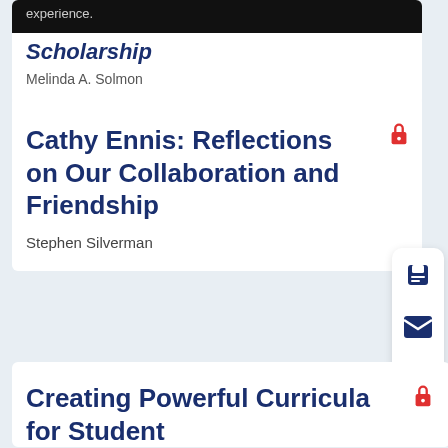experience.
Scholarship
Melinda A. Solmon
Cathy Ennis: Reflections on Our Collaboration and Friendship
Stephen Silverman
Creating Powerful Curricula for Student